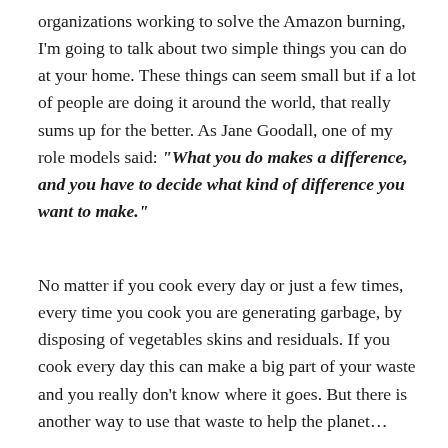organizations working to solve the Amazon burning, I'm going to talk about two simple things you can do at your home. These things can seem small but if a lot of people are doing it around the world, that really sums up for the better. As Jane Goodall, one of my role models said: "What you do makes a difference, and you have to decide what kind of difference you want to make."
No matter if you cook every day or just a few times, every time you cook you are generating garbage, by disposing of vegetables skins and residuals. If you cook every day this can make a big part of your waste and you really don't know where it goes. But there is another way to use that waste to help the planet…